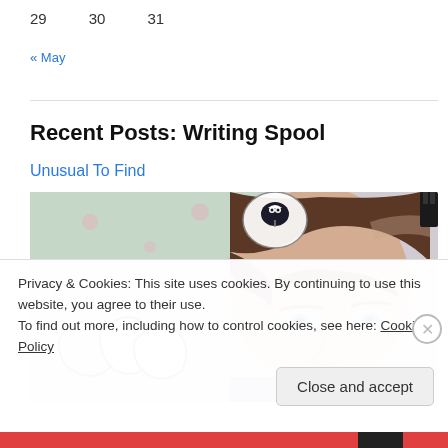29   30   31
« May
Recent Posts: Writing Spool
Unusual To Find
[Figure (photo): A colorful mixed-media artwork featuring a painted face of a young person with brown hair and blue eyes, with graffiti-style lettering in the lower left portion, and a small cartoon bird in a speech bubble near the top center. Painted on what appears to be a canvas with floral background elements.]
Privacy & Cookies: This site uses cookies. By continuing to use this website, you agree to their use.
To find out more, including how to control cookies, see here: Cookie Policy
Close and accept